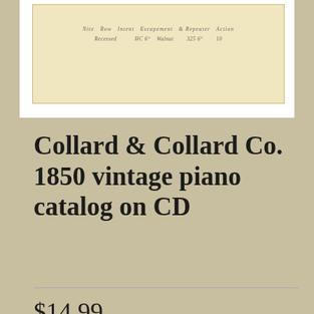[Figure (photo): Scan of an old 1850 catalog page showing piano specifications in a faded yellowish document with small printed text including columns for piano number, tone, intent, escapement, repeater, action, recessed, HC, walnut, and price 325.]
Collard & Collard Co. 1850 vintage piano catalog on CD
$14.99
Qty: 1
Add To Cart